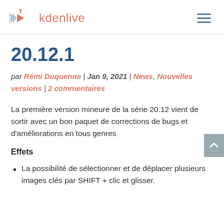kdenlive
20.12.1
par Rémi Duquenne | Jan 9, 2021 | News, Nouvelles versions | 2 commentaires
La première version mineure de la série 20.12 vient de sortir avec un bon paquet de corrections de bugs et d'améliorations en tous genres
Effets
La possibilité de sélectionner et de déplacer plusieurs images clés par SHIFT + clic et glisser.